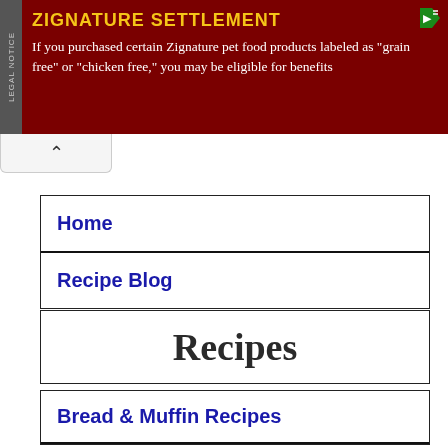[Figure (other): Legal notice advertisement banner for Zignature Settlement. Dark red background with 'LEGAL NOTICE' text on left side. Yellow title 'ZIGNATURE SETTLEMENT' and white body text about purchasing pet food products.]
Home
Recipe Blog
Recipes
Bread & Muffin Recipes